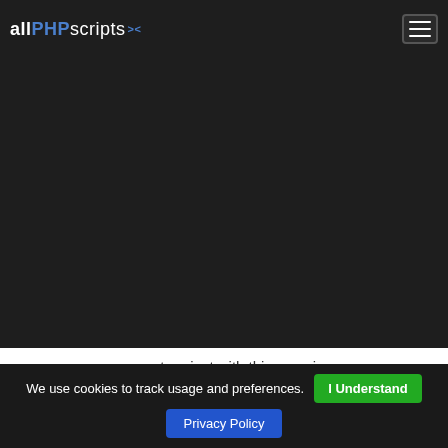allPHPscripts
[Figure (screenshot): Dark background content area]
your next project with this amazing p
First  Prev  Next
We use cookies to track usage and preferences.  I Understand  Privacy Policy